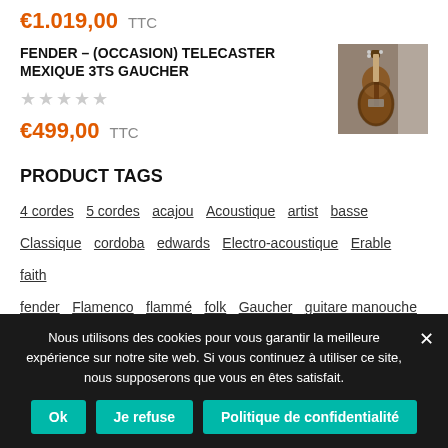€1.019,00  TTC
FENDER – (OCCASION) TELECASTER MEXIQUE 3TS GAUCHER
[Figure (photo): Photo of a Fender Telecaster guitar with sunburst finish, leaning against a wall]
€499,00  TTC
PRODUCT TAGS
4 cordes
5 cordes
acajou
Acoustique
artist
basse
Classique
cordoba
edwards
Electro-acoustique
Erable
faith
fender
Flamenco
flammé
folk
Gaucher
guitare manouche
Nous utilisons des cookies pour vous garantir la meilleure expérience sur notre site web. Si vous continuez à utiliser ce site, nous supposerons que vous en êtes satisfait.